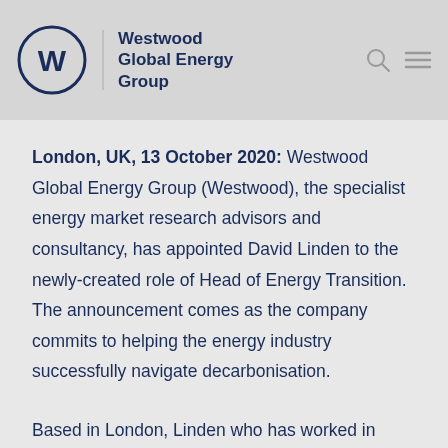Westwood Global Energy Group
London, UK, 13 October 2020: Westwood Global Energy Group (Westwood), the specialist energy market research advisors and consultancy, has appointed David Linden to the newly-created role of Head of Energy Transition. The announcement comes as the company commits to helping the energy industry successfully navigate decarbonisation.
Based in London, Linden who has worked in